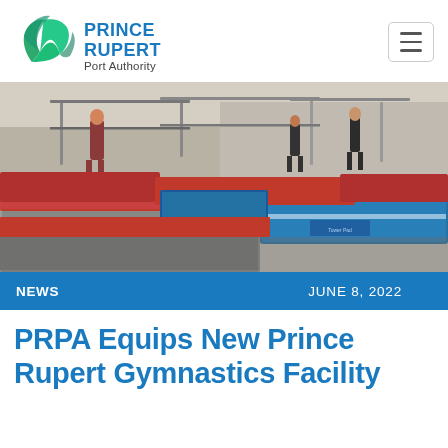Prince Rupert Port Authority — Navigation header with logo and menu button
[Figure (photo): Gymnastics facility interior showing colorful gymnastics mats in red, blue, and gray. Gymnasts can be seen in the background working on equipment including bars. Blue foam landing mats in foreground.]
NEWS   JUNE 8, 2022
PRPA Equips New Prince Rupert Gymnastics Facility